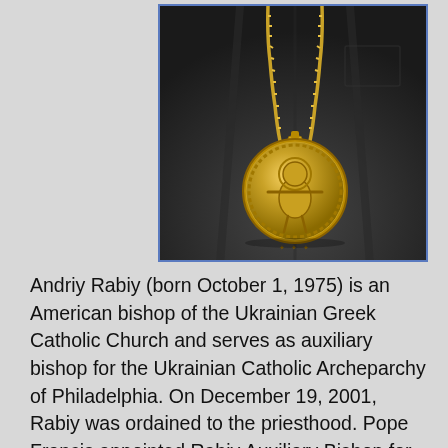[Figure (photo): Close-up photo of a person wearing a black robe with a gold medallion/encolpion pendant on a gold chain, typical of a bishop in the Ukrainian Greek Catholic Church.]
Andriy Rabiy (born October 1, 1975) is an American bishop of the Ukrainian Greek Catholic Church and serves as auxiliary bishop for the Ukrainian Catholic Archeparchy of Philadelphia. On December 19, 2001, Rabiy was ordained to the priesthood. Pope Francis appointed Rabiy Auxiliary Bishop for the Ukrainian Catholic Archeparchy of Philadelphia on August 8, 2017.[1][2] On September 3, 2017, Rabiy was consecrated as a bishop. On September 24, 2017, Rabiy was installed as